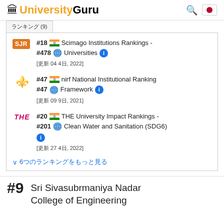UniversityGuru
ランキング (9)
#18 [India] #478 [Globe] Scimago Institutions Rankings - Universities [情報] [更新 04 4日, 2022]
#47 [India] #47 [Globe] nirf National Institutional Ranking Framework [情報] [更新 09 9日, 2021]
#20 [India] #201 [Globe] THE University Impact Rankings - Clean Water and Sanitation (SDG6) [情報] [更新 27 4日, 2022]
∨ 6つのランキングをもっと見る
#9 Sri Sivasubrmaniya Nadar College of Engineering